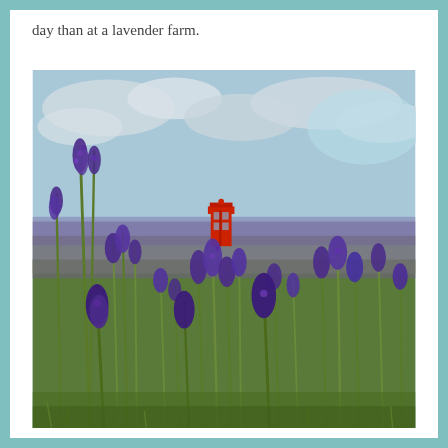day than at a lavender farm.
[Figure (photo): A field of vibrant purple lavender flowers in full bloom with green stems, under a partly cloudy sky. In the background, a red British telephone box is visible among the lavender.]